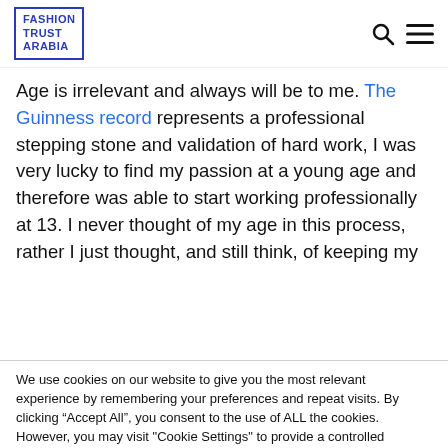FASHION TRUST ARABIA
Age is irrelevant and always will be to me. The Guinness record represents a professional stepping stone and validation of hard work, I was very lucky to find my passion at a young age and therefore was able to start working professionally at 13. I never thought of my age in this process, rather I just thought, and still think, of keeping my
We use cookies on our website to give you the most relevant experience by remembering your preferences and repeat visits. By clicking “Accept All”, you consent to the use of ALL the cookies. However, you may visit "Cookie Settings" to provide a controlled consent.